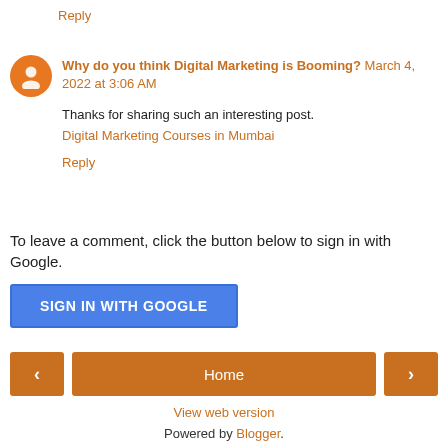Reply
Why do you think Digital Marketing is Booming? March 4, 2022 at 3:06 AM
Thanks for sharing such an interesting post.
Digital Marketing Courses in Mumbai
Reply
To leave a comment, click the button below to sign in with Google.
SIGN IN WITH GOOGLE
Home
View web version
Powered by Blogger.